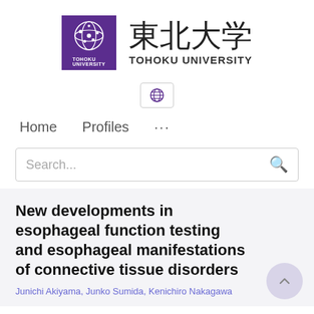[Figure (logo): Tohoku University logo: purple square with circular emblem and text TOHOKU UNIVERSITY in Japanese kanji 東北大学 and English]
[Figure (other): Globe/language selector icon button]
Home   Profiles   ...
Search...
New developments in esophageal function testing and esophageal manifestations of connective tissue disorders
Junichi Akiyama, Junko Sumida, Kenichiro Nakagawa